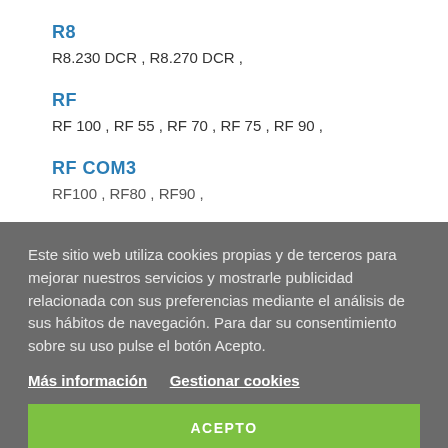R8
R8.230 DCR , R8.270 DCR ,
RF
RF 100 , RF 55 , RF 70 , RF 75 , RF 90 ,
RF COM3
RF100 , RF80 , RF90 ,
Este sitio web utiliza cookies propias y de terceros para mejorar nuestros servicios y mostrarle publicidad relacionada con sus preferencias mediante el análisis de sus hábitos de navegación. Para dar su consentimiento sobre su uso pulse el botón Acepto.
Más información   Gestionar cookies
ACEPTO